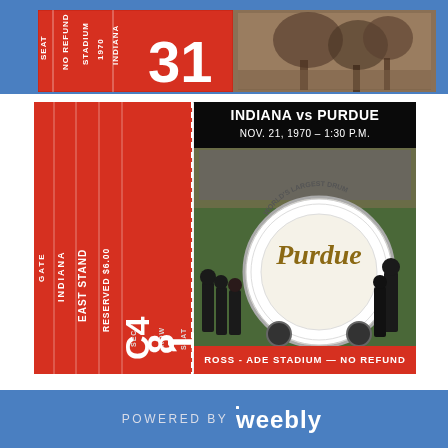[Figure (photo): Top portion of a vintage football ticket stub (red) from Indiana stadium 1970, partially visible, with 'NO REFUND', 'INDIANA', '1970', 'STADIUM' text rotated, seat number 31 visible, plus a sepia-toned photo of stadium/trees on the right]
[Figure (photo): Full vintage football ticket for Indiana vs Purdue, Nov. 21, 1970 - 1:30 P.M. at Ross-Ade Stadium. Red left stub shows GATE, INDIANA, EAST STAND, RESERVED $6.00, SEC. C4, ROW 8, SEAT 1. Right side shows color photo of Purdue's World's Largest Drum being rolled by marching band members with cheerleader, text at bottom: ROSS-ADE STADIUM — NO REFUND]
POWERED BY weebly